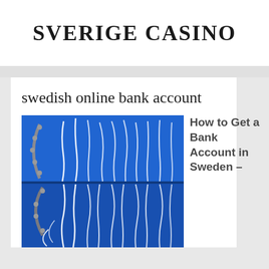SVERIGE CASINO
swedish online bank account
[Figure (photo): Close-up photo of a blue industrial or artistic surface with white curved neon light tubes and metallic riveted brackets arranged in flowing patterns on a royal blue background.]
How to Get a Bank Account in Sweden –